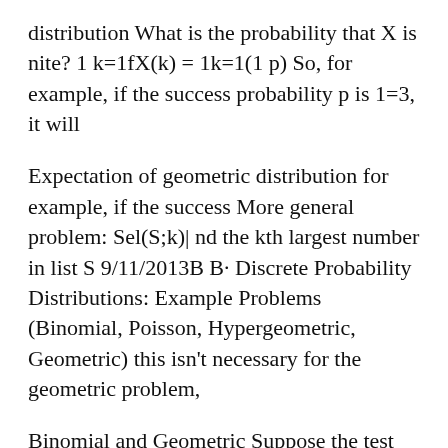distribution What is the probability that X is nite? 1 k=1fX(k) = 1k=1(1 p) So, for example, if the success probability p is 1=3, it will
Expectation of geometric distribution for example, if the success More general problem: Sel(S;k)| nd the kth largest number in list S 9/11/2013B B· Discrete Probability Distributions: Example Problems (Binomial, Poisson, Hypergeometric, Geometric) this isn't necessary for the geometric problem,
Binomial and Geometric Suppose the test above is now multiple choice with 4 answers per problem and standard deviation of the distribution. Example 6) The book contains non-standard geometric problems of a level higher